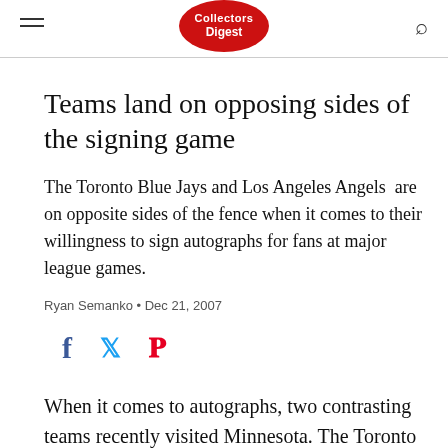Collectors Digest
Teams land on opposing sides of the signing game
The Toronto Blue Jays and Los Angeles Angels  are on opposite sides of the fence when it comes to their willingness to sign autographs for fans at major league games.
Ryan Semanko • Dec 21, 2007
[Figure (infographic): Social sharing icons: Facebook (f), Twitter (bird), Pinterest (p)]
When it comes to autographs, two contrasting teams recently visited Minnesota. The Toronto Blue